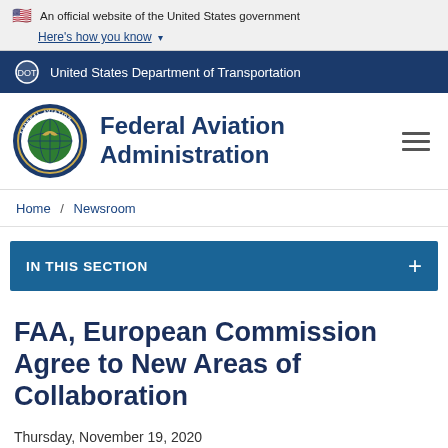An official website of the United States government Here's how you know
United States Department of Transportation
Federal Aviation Administration
Home / Newsroom
IN THIS SECTION
FAA, European Commission Agree to New Areas of Collaboration
Thursday, November 19, 2020